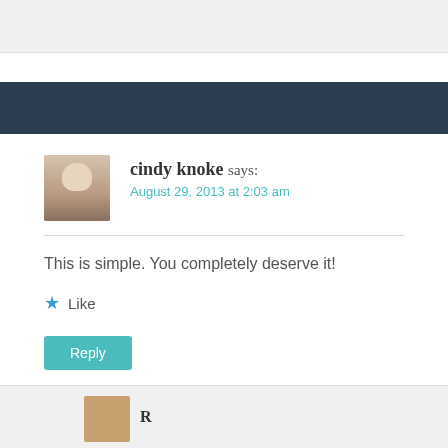cindy knoke says:
August 29, 2013 at 2:03 am
This is simple. You completely deserve it!
Like
Reply